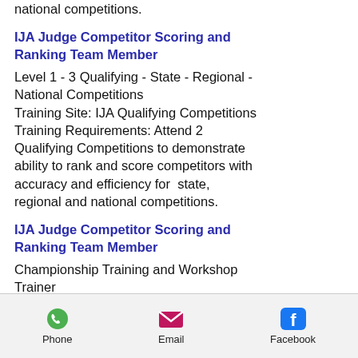national competitions.
IJA Judge Competitor Scoring and Ranking Team Member
Level 1 - 3 Qualifying - State - Regional - National Competitions
Training Site: IJA Qualifying Competitions
Training Requirements: Attend 2 Qualifying Competitions to demonstrate ability to rank and score competitors with accuracy and efficiency for  state, regional and national competitions.
IJA Judge Competitor Scoring and Ranking Team Member
Championship Training and Workshop Trainer
Level 1 - 3 Qualifying - State - Regional - National Competitions
Training Site: IJA Qualifying Competitions
Championship Training and Qualifying
Phone  Email  Facebook